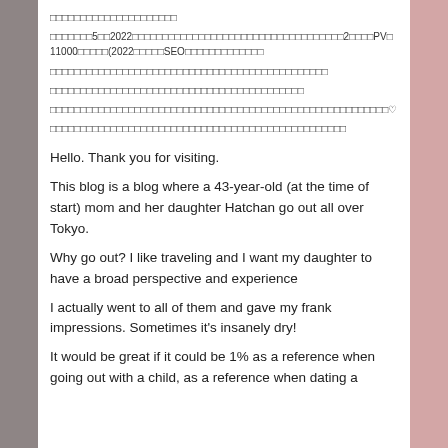□□□□□□□□□□□□□□□□□□□□□
□□□□□□□5□□2022□□□□□□□□□□□□□□□□□□□□□□□□□□□□□□□□□□□2□□□□PV□11000□□□□□(2022□□□□□SEO□□□□□□□□□□□□□
□□□□□□□□□□□□□□□□□□□□□□□□□□□□□□□□□□□□□□□□□□□□□□
□□□□□□□□□□□□□□□□□□□□□□□□□□□□□□□□□□□□□□□□□□
□□□□□□□□□□□□□□□□□□□□□□□□□□□□□□□□□□□□□□□□□□□□□□□□□□□□□□□□♡
□□□□□□□□□□□□□□□□□□□□□□□□□□□□□□□□□□□□□□□□□□□□□□□□□
Hello. Thank you for visiting.
This blog is a blog where a 43-year-old (at the time of start) mom and her daughter Hatchan go out all over Tokyo.
Why go out? I like traveling and I want my daughter to have a broad perspective and experience
I actually went to all of them and gave my frank impressions. Sometimes it's insanely dry!
It would be great if it could be 1% as a reference when going out with a child, as a reference when dating a